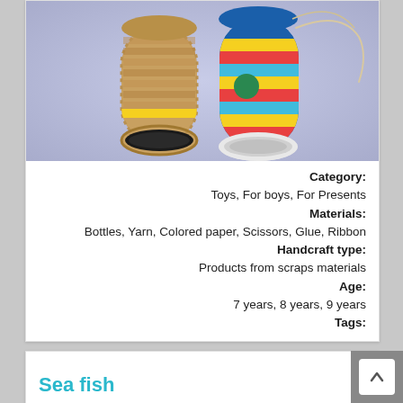[Figure (photo): Colorful DIY binoculars made from toilet paper rolls decorated with multicolored stripes (blue, yellow, red, cyan) and a green polka dot, with rope/yarn wrapped around and string attached, placed on a light blue-gray background.]
Category:
Toys, For boys, For Presents
Materials:
Bottles, Yarn, Colored paper, Scissors, Glue, Ribbon
Handcraft type:
Products from scraps materials
Age:
7 years, 8 years, 9 years
Tags: